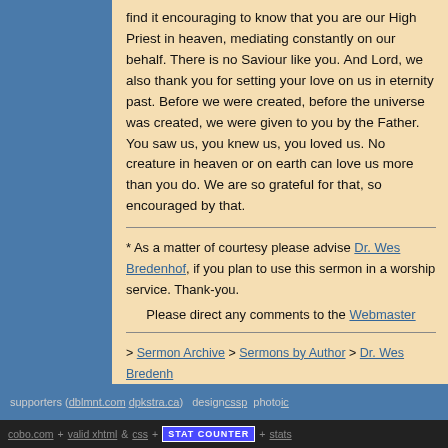find it encouraging to know that you are our High Priest in heaven, mediating constantly on our behalf.  There is no Saviour like you.  And Lord, we also thank you for setting your love on us in eternity past.  Before we were created, before the universe was created, we were given to you by the Father.  You saw us, you knew us, you loved us.  No creature in heaven or on earth can love us more than you do.  We are so grateful for that, so encouraged by that.
* As a matter of courtesy please advise Dr. Wes Bredenhof, if you plan to use this sermon in a worship service.   Thank-you.
Please direct any comments to the Webmaster
> Sermon Archive > Sermons by Author > Dr. Wes Bredenh…
> Jesus begins to reveal himself to his disciples as the Mes…
supporters ( dblmnt.com  dpkstra.ca )  design cssp  photo ic
cobo.com + valid xhtml & css + STAT COUNTER + stats